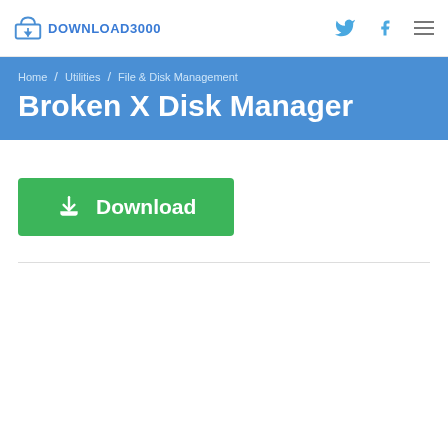DOWNLOAD3000
Home / Utilities / File & Disk Management
Broken X Disk Manager
Download